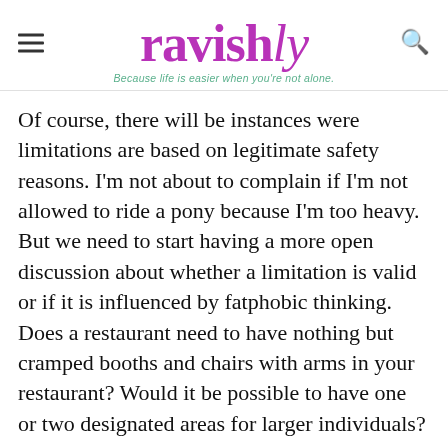ravishly — Because life is easier when you're not alone.
Of course, there will be instances were limitations are based on legitimate safety reasons. I'm not about to complain if I'm not allowed to ride a pony because I'm too heavy. But we need to start having a more open discussion about whether a limitation is valid or if it is influenced by fatphobic thinking. Does a restaurant need to have nothing but cramped booths and chairs with arms in your restaurant? Would it be possible to have one or two designated areas for larger individuals?
A plus-sized person's right to go out or